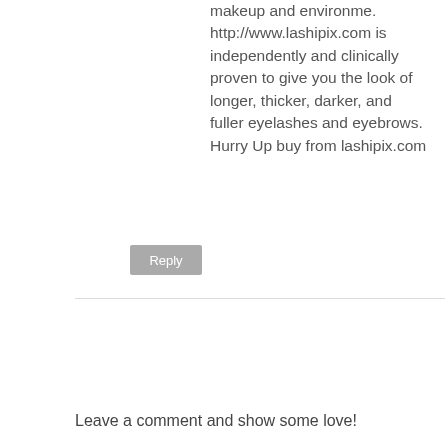makeup and environme. http://www.lashipix.com is independently and clinically proven to give you the look of longer, thicker, darker, and fuller eyelashes and eyebrows. Hurry Up buy from lashipix.com
Reply
Leave a comment and show some love!